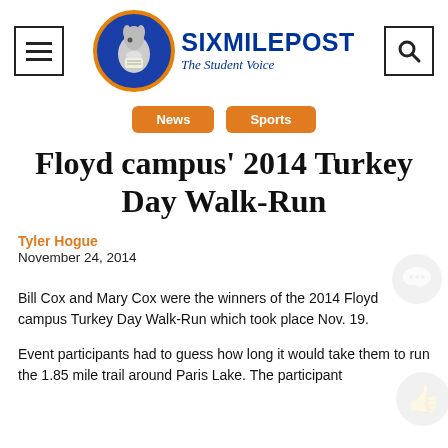SixMilePost — The Student Voice
News  Sports
Floyd campus' 2014 Turkey Day Walk-Run
Tyler Hogue
November 24, 2014
Bill Cox and Mary Cox were the winners of the 2014 Floyd campus Turkey Day Walk-Run which took place Nov. 19.
Event participants had to guess how long it would take them to run the 1.85 mile trail around Paris Lake. The participant who after finishing had the closest time to their guess is the